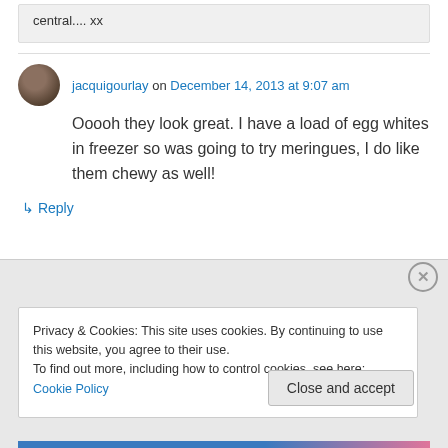central.... xx
jacquigourlay on December 14, 2013 at 9:07 am
Ooooh they look great. I have a load of egg whites in freezer so was going to try meringues, I do like them chewy as well!
↳ Reply
Privacy & Cookies: This site uses cookies. By continuing to use this website, you agree to their use.
To find out more, including how to control cookies, see here: Cookie Policy
Close and accept